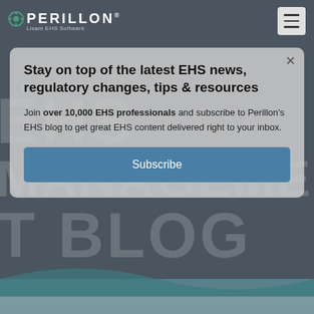[Figure (logo): Perillon logo with circular icon and tagline 'Lisam EHS Software']
[Figure (screenshot): Hamburger menu button (three horizontal lines) in light gray box]
Stay on top of the latest EHS news, regulatory changes, tips & resources
Join over 10,000 EHS professionals and subscribe to Perillon's EHS blog to get great EHS content delivered right to your inbox.
[Figure (other): Subscribe button in blue/teal color]
[Figure (other): Background watermark text reading EHS MANAGEMENT BLOG in large white letters]